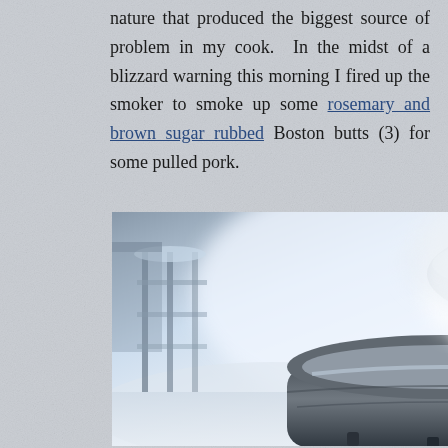nature that produced the biggest source of problem in my cook.  In the midst of a blizzard warning this morning I fired up the smoker to smoke up some rosemary and brown sugar rubbed Boston butts (3) for some pulled pork.
[Figure (photo): A smoker/grill covered in snow during a blizzard, with steam/smoke billowing out of the vents. A snowy outdoor scene is visible in the background.]